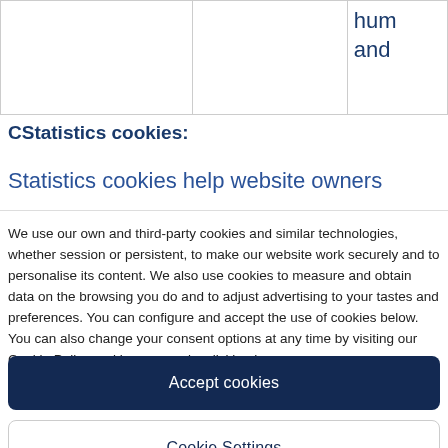|  |  | hum
and |
| --- | --- | --- |
|  |  |  |
CStatistics cookies:
Statistics cookies help website owners
We use our own and third-party cookies and similar technologies, whether session or persistent, to make our website work securely and to personalise its content. We also use cookies to measure and obtain data on the browsing you do and to adjust advertising to your tastes and preferences. You can configure and accept the use of cookies below. You can also change your consent options at any time by visiting our Cookie Policy and learn more by clicking here
Accept cookies
Cookie Settings